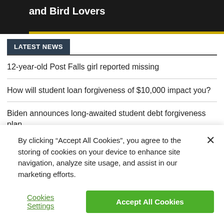[Figure (illustration): Dark banner image with white bold text reading 'and Bird Lovers' and a gold/yellow bar at the bottom]
LATEST NEWS
12-year-old Post Falls girl reported missing
How will student loan forgiveness of $10,000 impact you?
Biden announces long-awaited student debt forgiveness plan
Thunderstorms are likely for your Wednesday afternoon! -
By clicking “Accept All Cookies”, you agree to the storing of cookies on your device to enhance site navigation, analyze site usage, and assist in our marketing efforts.
Cookies Settings | Accept All Cookies